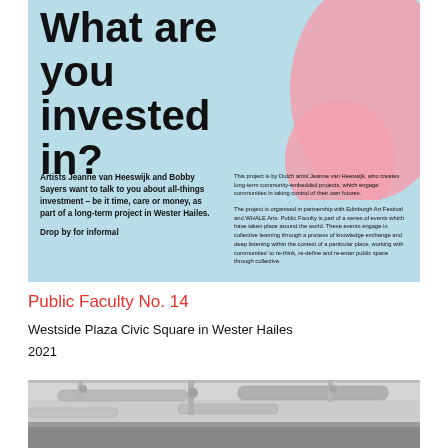[Figure (photo): Promotional flyer on light blue background with large bold text 'What are you invested in?' and a pink blob shape. Left side has bold body text about Artists Jeanne van Heeswijk and Bobby Sayers. Right side has smaller descriptive text about the project. Partial text 'Drop by for informal' visible at bottom.]
Public Faculty No. 14
Westside Plaza Civic Square in Wester Hailes
2021
[Figure (photo): Industrial interior ceiling with exposed pipes, ducts and metal supports, grayscale/muted tones.]